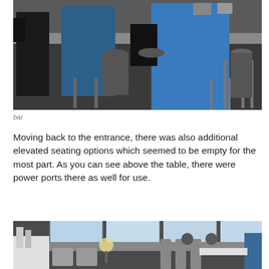[Figure (photo): Photo of a bar area with people sitting on high stools at a counter. The scene shows bar stools, a counter, and people in casual clothing including blue jeans.]
bar
Moving back to the entrance, there was also additional elevated seating options which seemed to be empty for the most part. As you can see above the table, there were power ports there as well for use.
[Figure (photo): Photo of a lounge seating area with gray chairs, high bar stools, and large windows looking out onto an airport tarmac. Several people are seated at various spots throughout the lounge.]